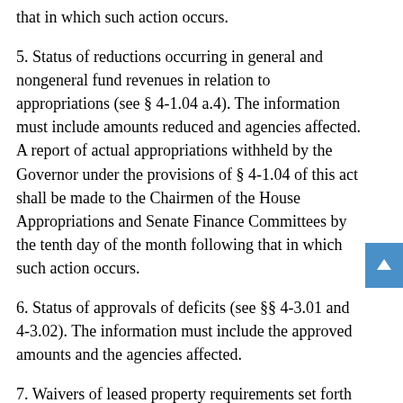that in which such action occurs.
5. Status of reductions occurring in general and nongeneral fund revenues in relation to appropriations (see § 4-1.04 a.4). The information must include amounts reduced and agencies affected. A report of actual appropriations withheld by the Governor under the provisions of § 4-1.04 of this act shall be made to the Chairmen of the House Appropriations and Senate Finance Committees by the tenth day of the month following that in which such action occurs.
6. Status of approvals of deficits (see §§ 4-3.01 and 4-3.02). The information must include the approved amounts and the agencies affected.
7. Waivers of leased property requirements set forth in § 4-5.09.